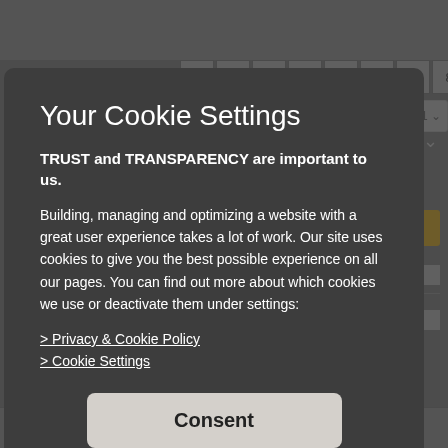[Figure (screenshot): Background website page with gray UI, numbered tabs (1-8), and orange button, partially obscured by cookie consent modal overlay]
Your Cookie Settings
TRUST and TRANSPARENCY are important to us.
Building, managing and optimizing a website with a great user experience takes a lot of work. Our site uses cookies to give you the best possible experience on all our pages. You can find out more about which cookies we use or deactivate them under settings:
> Privacy & Cookie Policy
> Cookie Settings
Consent